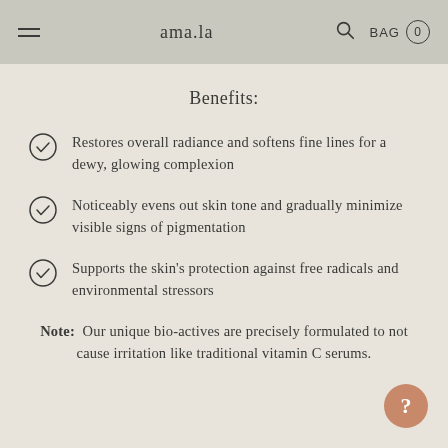ama.la  BAG 0
Benefits:
Restores overall radiance and softens fine lines for a dewy, glowing complexion
Noticeably evens out skin tone and gradually minimize visible signs of pigmentation
Supports the skin's protection against free radicals and environmental stressors
Note:  Our unique bio-actives are precisely formulated to not cause irritation like traditional vitamin C serums.